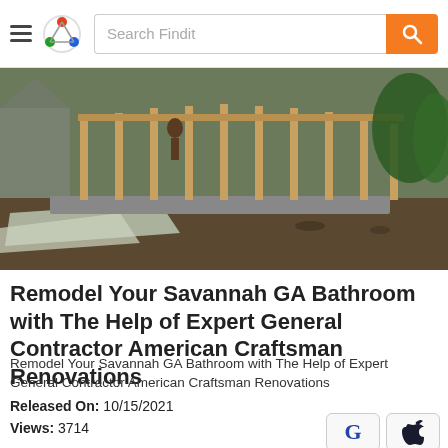Search Findit
[Figure (photo): Construction photo showing a building under construction with wooden framing/studs, a concrete foundation, plastic sheeting on the ground, mud, and trees in the background]
Remodel Your Savannah GA Bathroom with The Help of Expert General Contractor American Craftsman Renovations
Remodel Your Savannah GA Bathroom with The Help of Expert General Contractor American Craftsman Renovations
Released On: 10/15/2021
Views: 3714